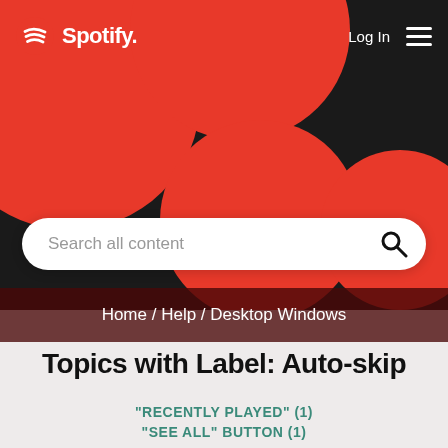Spotify — Log In
[Figure (screenshot): Spotify header with red and black decorative circles/blobs background]
Search all content
Home / Help / Desktop Windows
Topics with Label: Auto-skip
"RECENTLY PLAYED" (1)
"SEE ALL" BUTTON (1)
"WINDOWS" "BUG" (1)
+VOTE (1)